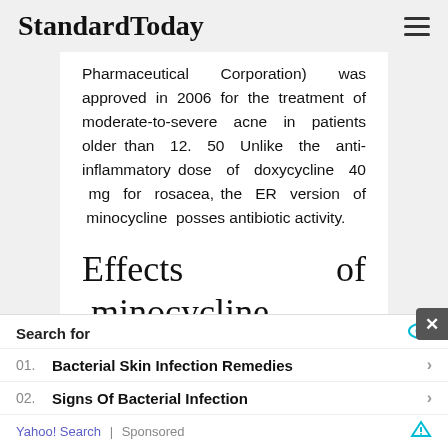StandardToday
Pharmaceutical Corporation) was approved in 2006 for the treatment of moderate-to-severe acne in patients older than 12. 50 Unlike the anti-inflammatory dose of doxycycline 40 mg for rosacea, the ER version of minocycline posses antibiotic activity.
Effects of minocycline on periodontal disease
Search for
01. Bacterial Skin Infection Remedies
02. Signs Of Bacterial Infection
Yahoo! Search | Sponsored